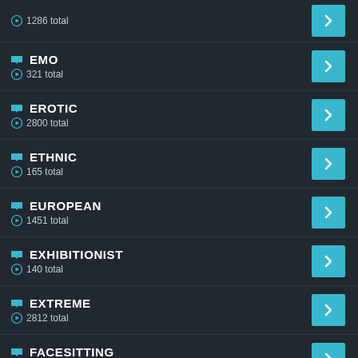1286 total
EMO · 321 total
EROTIC · 2800 total
ETHNIC · 165 total
EUROPEAN · 1451 total
EXHIBITIONIST · 140 total
EXTREME · 2812 total
FACESITTING · 1128 total